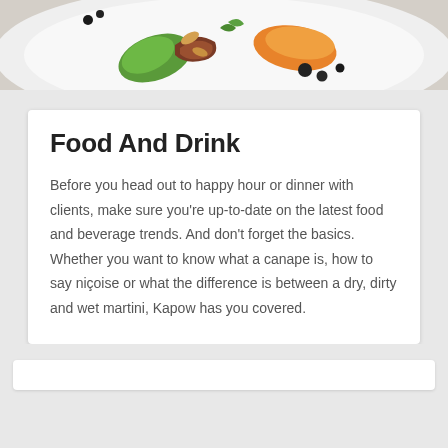[Figure (photo): Top portion of a food photograph showing a gourmet dish on a white plate with colorful vegetables and garnishes]
Food And Drink
Before you head out to happy hour or dinner with clients, make sure you're up-to-date on the latest food and beverage trends. And don't forget the basics. Whether you want to know what a canape is, how to say niçoise or what the difference is between a dry, dirty and wet martini, Kapow has you covered.